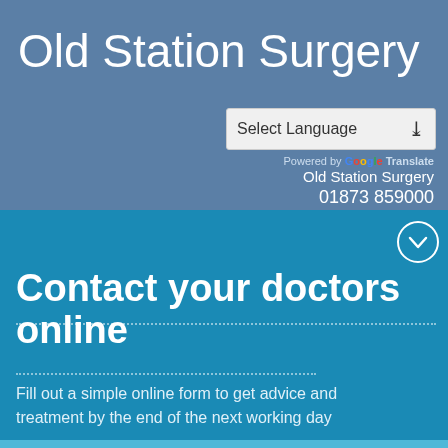Old Station Surgery
Select Language
Powered by Google Translate
Old Station Surgery
01873 859000
Contact your doctors online
Fill out a simple online form to get advice and treatment by the end of the next working day